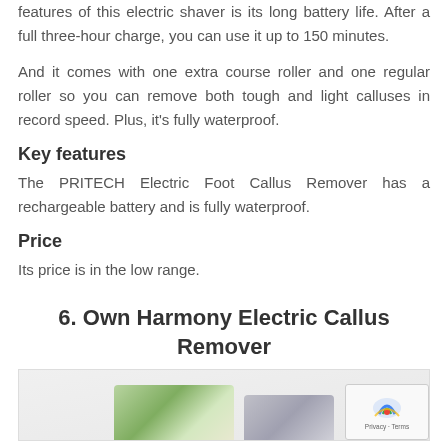features of this electric shaver is its long battery life. After a full three-hour charge, you can use it up to 150 minutes.
And it comes with one extra course roller and one regular roller so you can remove both tough and light calluses in record speed. Plus, it's fully waterproof.
Key features
The PRITECH Electric Foot Callus Remover has a rechargeable battery and is fully waterproof.
Price
Its price is in the low range.
6. Own Harmony Electric Callus Remover
[Figure (photo): Product image of Own Harmony Electric Callus Remover, partially visible at bottom of page]